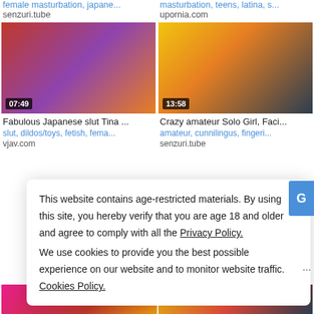female masturbation, japane... | masturbation, teens, latina, s...
senzuri.tube | upornia.com
[Figure (photo): Video thumbnail left: 07:49 duration]
[Figure (photo): Video thumbnail right: 13:58 duration]
Fabulous Japanese slut Tina ...
Crazy amateur Solo Girl, Faci...
slut, dildos/toys, fetish, fema...
amateur, cunnilingus, fingeri...
vjav.com
senzuri.tube
This website contains age-restricted materials. By using this site, you hereby verify that you are age 18 and older and agree to comply with all the Privacy Policy.
We use cookies to provide you the best possible experience on our website and to monitor website traffic. Cookies Policy.
[Figure (photo): Partial video thumbnail bottom left]
[Figure (photo): Partial video thumbnail bottom right]